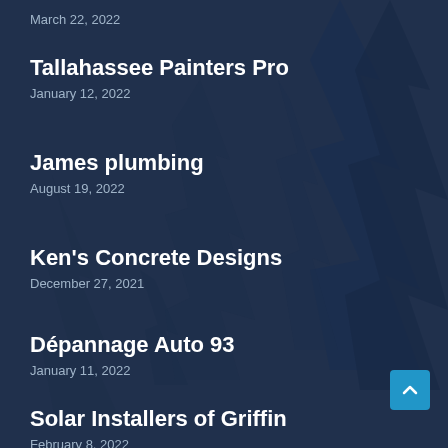March 22, 2022
Tallahassee Painters Pro
January 12, 2022
James plumbing
August 19, 2022
Ken's Concrete Designs
December 27, 2021
Dépannage Auto 93
January 11, 2022
Solar Installers of Griffin
February 8, 2022